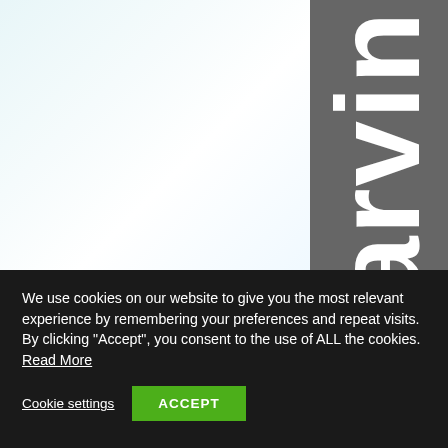[Figure (screenshot): Website header with two panels: a light blue-white panel on the left and a dark grey panel on the right displaying large white text letters 'Carvin' arranged vertically]
We use cookies on our website to give you the most relevant experience by remembering your preferences and repeat visits. By clicking “Accept”, you consent to the use of ALL the cookies. Read More
Cookie settings
ACCEPT